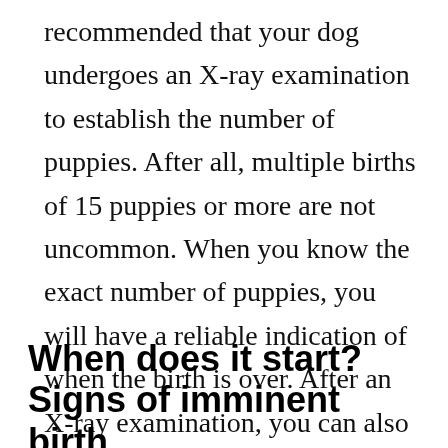recommended that your dog undergoes an X-ray examination to establish the number of puppies. After all, multiple births of 15 puppies or more are not uncommon. When you know the exact number of puppies, you will have a reliable indication of when the birth is over. After an X-ray examination, you can also better prepare yourself for potential difficulties with birth, especially with a smaller number of larger puppies.
When does it start? Signs of imminent birth